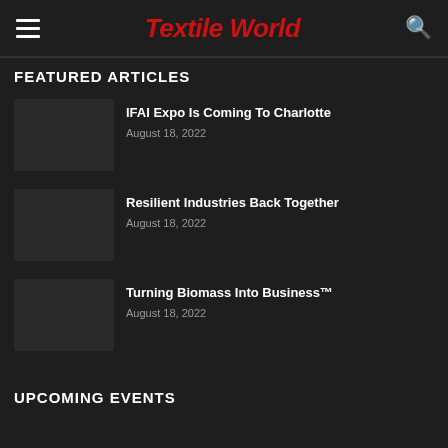Textile World
FEATURED ARTICLES
IFAI Expo Is Coming To Charlotte
August 18, 2022
Resilient Industries Back Together
August 18, 2022
Turning Biomass Into Business™
August 18, 2022
UPCOMING EVENTS